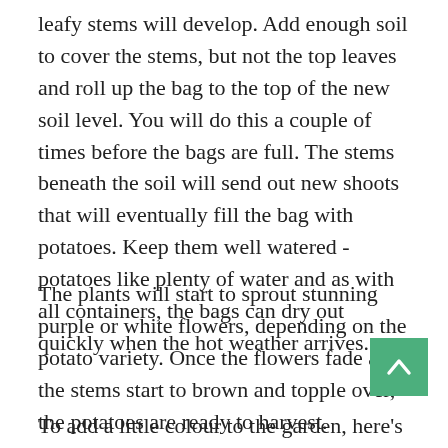leafy stems will develop. Add enough soil to cover the stems, but not the top leaves and roll up the bag to the top of the new soil level. You will do this a couple of times before the bags are full. The stems beneath the soil will send out new shoots that will eventually fill the bag with potatoes. Keep them well watered - potatoes like plenty of water and as with all containers, the bags can dry out quickly when the hot weather arrives.
The plants will start to sprout stunning purple or white flowers, depending on the potato variety. Once the flowers fade and the stems start to brown and topple over, the potatoes are ready to harvest.
To add a little colour to the garden, here's another